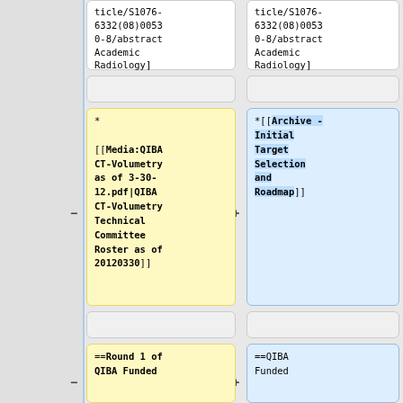ticle/S1076-6332(08)00530-8/abstract Academic Radiology]
ticle/S1076-6332(08)00530-8/abstract Academic Radiology]
* [[Media:QIBA CT-Volumetry as of 3-30-12.pdf|QIBA CT-Volumetry Technical Committee Roster as of 20120330]]
*[[Archive - Initial Target Selection and Roadmap]]
==Round 1 of QIBA Funded
==QIBA Funded